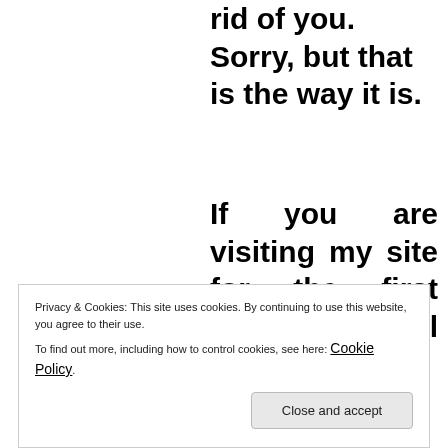rid of you. Sorry, but that is the way it is.
If you are visiting my site for the first time, you will find th...
Privacy & Cookies: This site uses cookies. By continuing to use this website, you agree to their use.
To find out more, including how to control cookies, see here: Cookie Policy
Close and accept